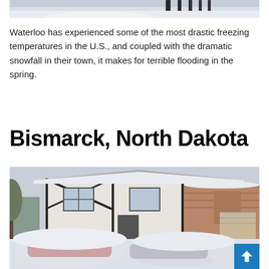[Figure (photo): Partial view of a snowy scene, cropped at top of page]
Waterloo has experienced some of the most drastic freezing temperatures in the U.S., and coupled with the dramatic snowfall in their town, it makes for terrible flooding in the spring.
Bismarck, North Dakota
[Figure (photo): A house covered in deep snow with snow-buried cars in the foreground in Bismarck, North Dakota]